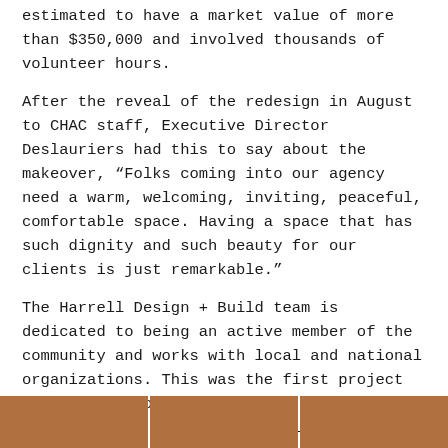estimated to have a market value of more than $350,000 and involved thousands of volunteer hours.
After the reveal of the redesign in August to CHAC staff, Executive Director Deslauriers had this to say about the makeover, “Folks coming into our agency need a warm, welcoming, inviting, peaceful, comfortable space. Having a space that has such dignity and such beauty for our clients is just remarkable.”
The Harrell Design + Build team is dedicated to being an active member of the community and works with local and national organizations. This was the first project with Design for a Difference. The Harrell Team plans to continue their involvement, participating in future DFAD endeavors.
“Once I understood the Design for a Difference movement, I was completely hooked and knew that I would be involved for years to come!” explains Lisa Sten.
[Figure (photo): A strip of three photographs at the bottom of the page showing interior design or renovation images.]